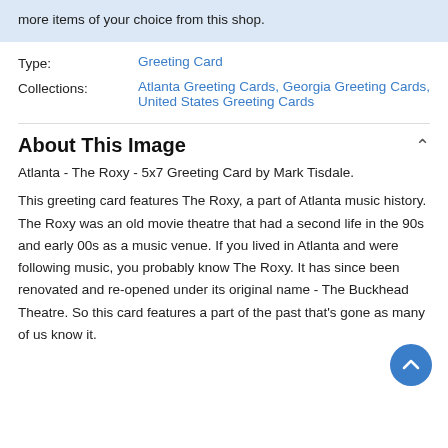more items of your choice from this shop.
Type: Greeting Card
Collections: Atlanta Greeting Cards, Georgia Greeting Cards, United States Greeting Cards
About This Image
Atlanta - The Roxy - 5x7 Greeting Card by Mark Tisdale.
This greeting card features The Roxy, a part of Atlanta music history. The Roxy was an old movie theatre that had a second life in the 90s and early 00s as a music venue. If you lived in Atlanta and were following music, you probably know The Roxy. It has since been renovated and re-opened under its original name - The Buckhead Theatre. So this card features a part of the past that's gone as many of us know it.